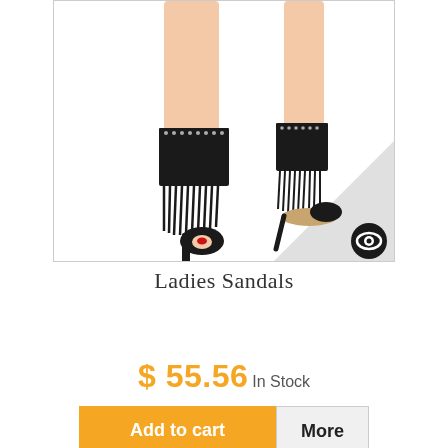[Figure (photo): Product photo of black fringe ladies sandals/heels with studded ankle strap, shown from two angles (front and side) on a model's legs against a white background. A camera/eye logo watermark appears in the lower right corner of the image.]
Ladies Sandals
In Stock
$ 55.56 In Stock
Add to cart
More